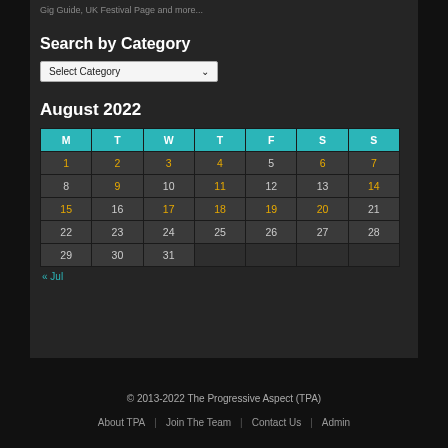Gig Guide, UK Festival Page and more...
Search by Category
[Figure (other): Select Category dropdown widget]
August 2022
| M | T | W | T | F | S | S |
| --- | --- | --- | --- | --- | --- | --- |
| 1 | 2 | 3 | 4 | 5 | 6 | 7 |
| 8 | 9 | 10 | 11 | 12 | 13 | 14 |
| 15 | 16 | 17 | 18 | 19 | 20 | 21 |
| 22 | 23 | 24 | 25 | 26 | 27 | 28 |
| 29 | 30 | 31 |  |  |  |  |
« Jul
© 2013-2022 The Progressive Aspect (TPA)
About TPA | Join The Team | Contact Us | Admin